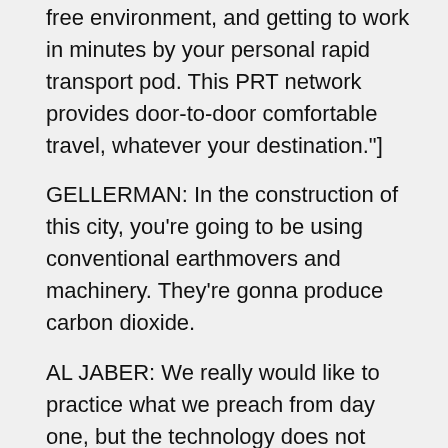free environment, and getting to work in minutes by your personal rapid transport pod. This PRT network provides door-to-door comfortable travel, whatever your destination."]
GELLERMAN: In the construction of this city, you're going to be using conventional earthmovers and machinery. They're gonna produce carbon dioxide.
AL JABER: We really would like to practice what we preach from day one, but the technology does not permit and allow us to do so from day one. We will always do our best to minimize our carbon footprint from day one. Now, in the construction phase, we need power. This power is not going to be brought from the national grid. We are building our own ten-megawatt photovoltaic power plant, which will power the construction phase. And if there is any carbon that is being produced, we will